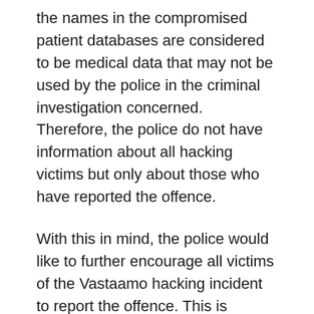the names in the compromised patient databases are considered to be medical data that may not be used by the police in the criminal investigation concerned. Therefore, the police do not have information about all hacking victims but only about those who have reported the offence.
With this in mind, the police would like to further encourage all victims of the Vastaamo hacking incident to report the offence. This is important in view of the victims' claims but also in view of monitoring and combating associated crime. Instructions on how to report a crime can be found on the website of the Finnish Police.
We have taken every associated crime against Vastaamo customers seriously. The crimes that